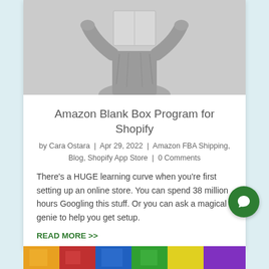[Figure (photo): Black and white photo of a person holding a book or box over their face with both hands raised]
Amazon Blank Box Program for Shopify
by Cara Ostara | Apr 29, 2022 | Amazon FBA Shipping, Blog, Shopify App Store | 0 Comments
There's a HUGE learning curve when you're first setting up an online store. You can spend 38 million hours Googling this stuff. Or you can ask a magical genie to help you get setup.
READ MORE >>
[Figure (photo): Colorful image strip at the bottom of the page]